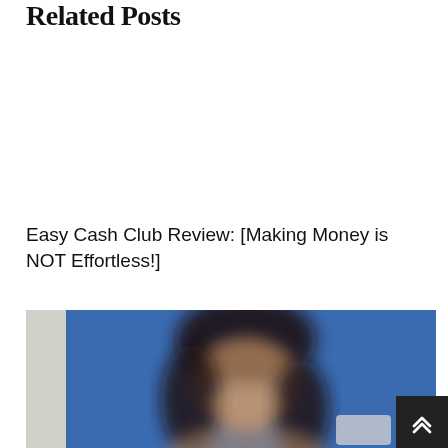Related Posts
Easy Cash Club Review: [Making Money is NOT Effortless!]
[Figure (photo): A person with long dark hair smiling slightly against a blue background, photo is blurred/out of focus]